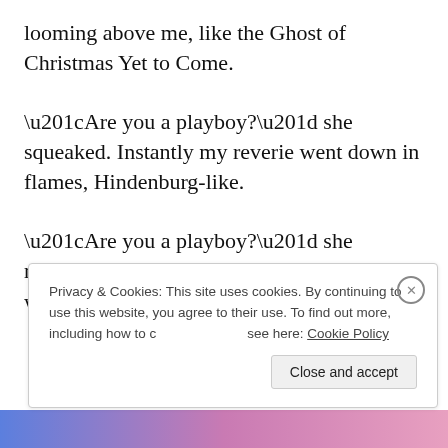looming above me, like the Ghost of Christmas Yet to Come.
“Are you a playboy?” she squeaked. Instantly my reverie went down in flames, Hindenburg-like.
“Are you a playboy?” she repeated, raising her pitch to near dog-whistle
Privacy & Cookies: This site uses cookies. By continuing to use this website, you agree to their use. To find out more, including how to control cookies, see here: Cookie Policy